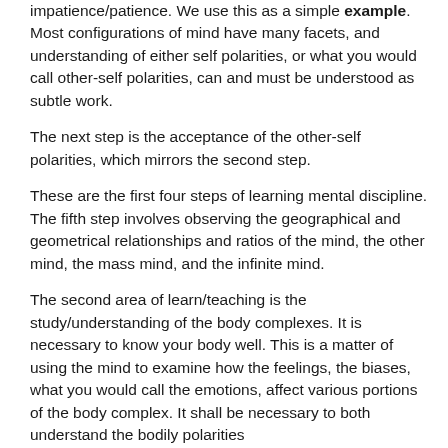impatience/patience. We use this as a simple example. Most configurations of mind have many facets, and understanding of either self polarities, or what you would call other-self polarities, can and must be understood as subtle work.
The next step is the acceptance of the other-self polarities, which mirrors the second step.
These are the first four steps of learning mental discipline. The fifth step involves observing the geographical and geometrical relationships and ratios of the mind, the other mind, the mass mind, and the infinite mind.
The second area of learn/teaching is the study/understanding of the body complexes. It is necessary to know your body well. This is a matter of using the mind to examine how the feelings, the biases, what you would call the emotions, affect various portions of the body complex. It shall be necessary to both understand the bodily polarities